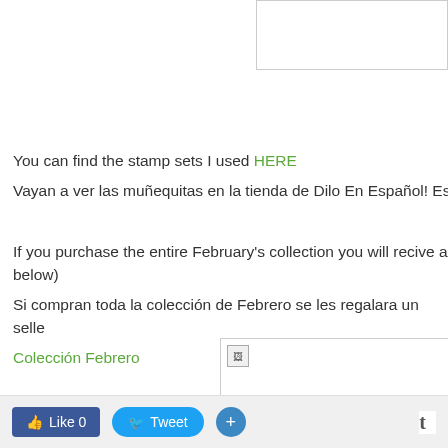[Figure (other): Empty image box with border at top right]
You can find the stamp sets I used HERE
Vayan a ver las muñequitas en la tienda de Dilo En Español! Es
If you purchase the entire February's collection you will recive a below)
Si compran toda la colección de Febrero se les regalara un selle
Colección Febrero
[Figure (other): Broken/loading image placeholder]
Like 0   Tweet   +   t